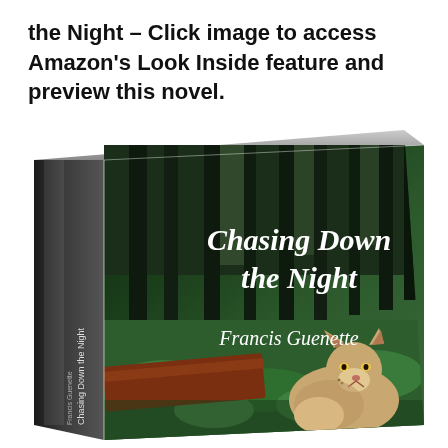the Night – Click image to access Amazon's Look Inside feature and preview this novel.
[Figure (illustration): 3D rendered book cover of 'Chasing Down the Night' by Francis Guenette. The cover shows a dark forest with tall trees, green ferns, and a mountain lion/cougar in the lower right corner. The title 'Chasing Down the Night' and author name 'Francis Guenette' are displayed in white italic text on the cover. The book spine also shows 'Chasing Down the Night' and 'Francis Guenette'.]